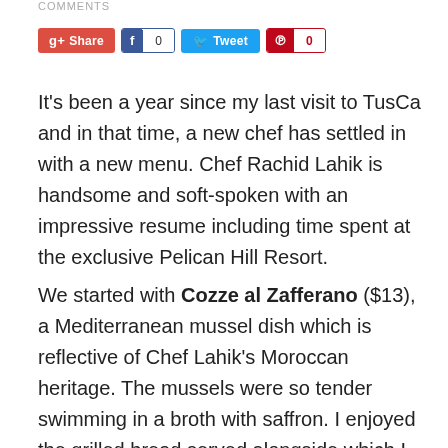COMMENTS
[Figure (other): Social sharing buttons: Google+ Share, Facebook with count 0, Tweet, Pinterest with count 0]
It's been a year since my last visit to TusCa and in that time, a new chef has settled in with a new menu. Chef Rachid Lahik is handsome and soft-spoken with an impressive resume including time spent at the exclusive Pelican Hill Resort.
We started with Cozze al Zafferano ($13), a Mediterranean mussel dish which is reflective of Chef Lahik's Moroccan heritage. The mussels were so tender swimming in a broth with saffron. I enjoyed the grilled bread served alongside which I eagerly dipped into the broth not wanting to waste a drop of it.